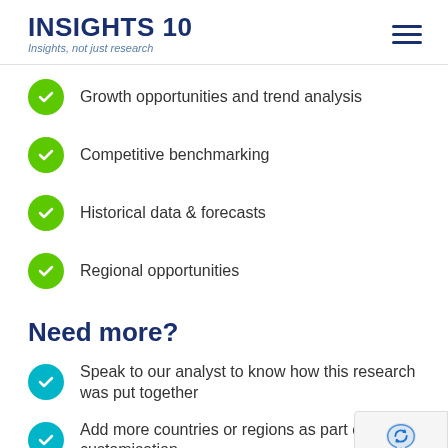INSIGHTS 10 — Insights, not just research
Growth opportunities and trend analysis
Competitive benchmarking
Historical data & forecasts
Regional opportunities
Need more?
Speak to our analyst to know how this research was put together
Add more countries or regions as part of customisation